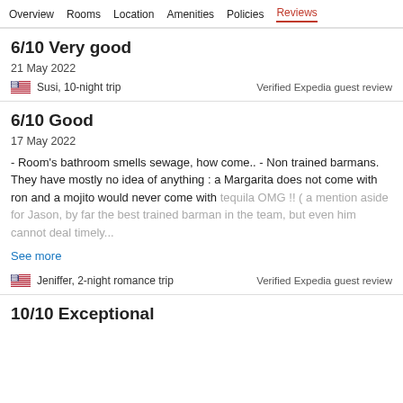Overview  Rooms  Location  Amenities  Policies  Reviews
6/10 Very good
21 May 2022
Susi, 10-night trip   Verified Expedia guest review
6/10 Good
17 May 2022
- Room's bathroom smells sewage, how come.. - Non trained barmans. They have mostly no idea of anything : a Margarita does not come with ron and a mojito would never come with tequila OMG !! ( a mention aside for Jason, by far the best trained barman in the team, but even him cannot deal timely...
See more
Jeniffer, 2-night romance trip   Verified Expedia guest review
10/10 Exceptional